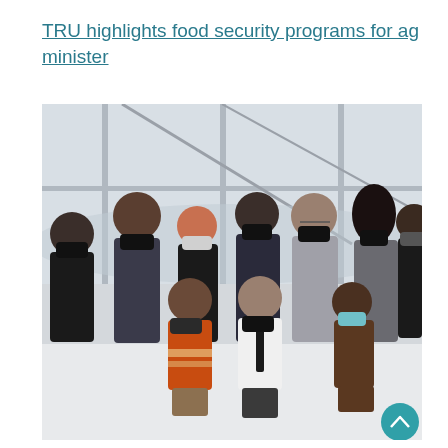TRU highlights food security programs for ag minister
[Figure (photo): Group photo of approximately 11 people wearing face masks, standing and kneeling in front of large windows with a mountain view. Three people are in the front row kneeling, and the rest stand behind them. One person wears an orange sweater, another a white shirt with dark tie, and others wear business attire.]